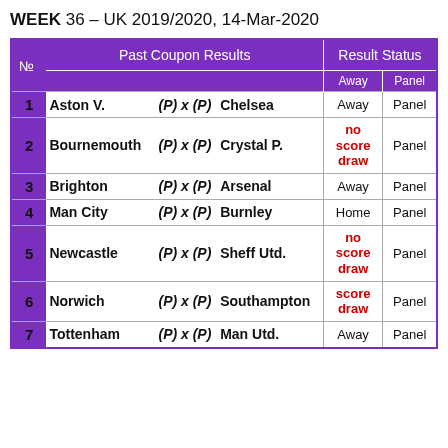WEEK 36 – UK 2019/2020, 14-Mar-2020
| № | Past Coupon Results |  |  | Away | Panel |
| --- | --- | --- | --- | --- | --- |
| 1 | Aston V. | (P) x (P) | Chelsea | Away | Panel |
| 2 | Bournemouth | (P) x (P) | Crystal P. | no score draw | Panel |
| 3 | Brighton | (P) x (P) | Arsenal | Away | Panel |
| 4 | Man City | (P) x (P) | Burnley | Home | Panel |
| 5 | Newcastle | (P) x (P) | Sheff Utd. | no score draw | Panel |
| 6 | Norwich | (P) x (P) | Southampton | score draw | Panel |
| 7 | Tottenham | (P) x (P) | Man Utd. | Away | Panel |